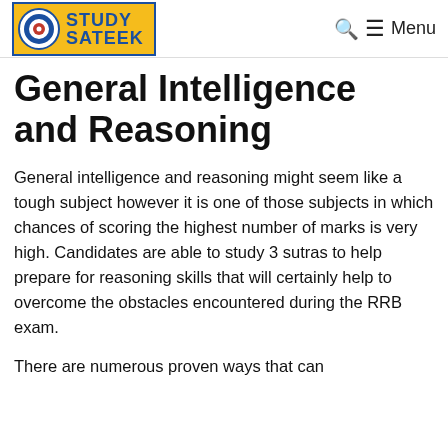STUDY SATEEK — Menu
General Intelligence and Reasoning
General intelligence and reasoning might seem like a tough subject however it is one of those subjects in which chances of scoring the highest number of marks is very high. Candidates are able to study 3 sutras to help prepare for reasoning skills that will certainly help to overcome the obstacles encountered during the RRB exam.
There are numerous proven ways that can